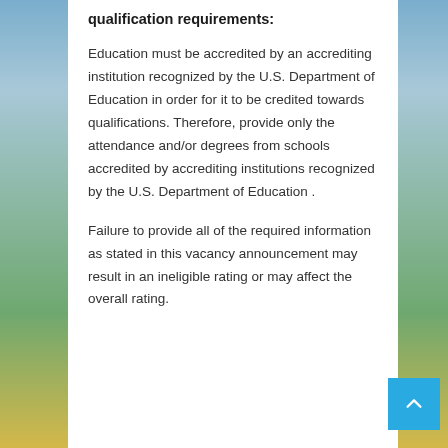qualification requirements:
Education must be accredited by an accrediting institution recognized by the U.S. Department of Education in order for it to be credited towards qualifications. Therefore, provide only the attendance and/or degrees from schools accredited by accrediting institutions recognized by the U.S. Department of Education .
Failure to provide all of the required information as stated in this vacancy announcement may result in an ineligible rating or may affect the overall rating.